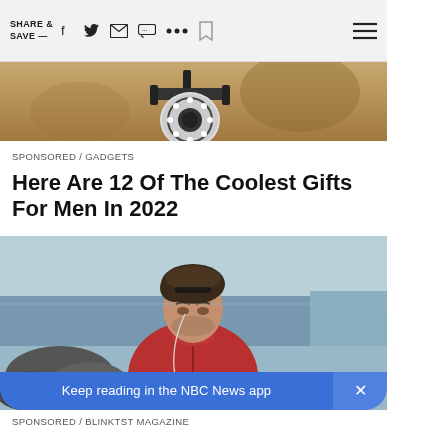SHARE & SAVE —
[Figure (photo): Close-up of a security camera mounted on a sandy/stone wall with visible LED ring lights]
SPONSORED / GADGETS
Here Are 12 Of The Coolest Gifts For Men In 2022
[Figure (photo): Man in red hoodie with earphones standing by a waterfront with rocks, looking down]
Keep reading in the NBC News app
SPONSORED / BLINKTST MAGAZINE